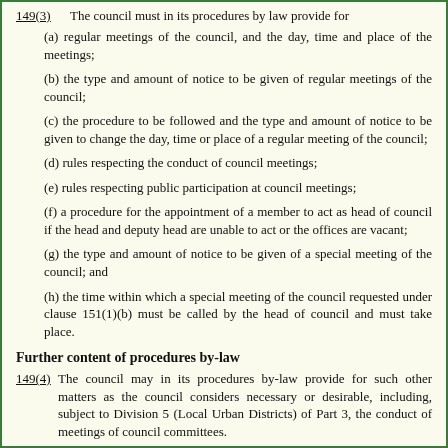149(3)    The council must in its procedures by law provide for
(a) regular meetings of the council, and the day, time and place of the meetings;
(b) the type and amount of notice to be given of regular meetings of the council;
(c) the procedure to be followed and the type and amount of notice to be given to change the day, time or place of a regular meeting of the council;
(d) rules respecting the conduct of council meetings;
(e) rules respecting public participation at council meetings;
(f) a procedure for the appointment of a member to act as head of council if the head and deputy head are unable to act or the offices are vacant;
(g) the type and amount of notice to be given of a special meeting of the council; and
(h) the time within which a special meeting of the council requested under clause 151(1)(b) must be called by the head of council and must take place.
Further content of procedures by-law
149(4)    The council may in its procedures by-law provide for such other matters as the council considers necessary or desirable, including, subject to Division 5 (Local Urban Districts) of Part 3, the conduct of meetings of council committees.